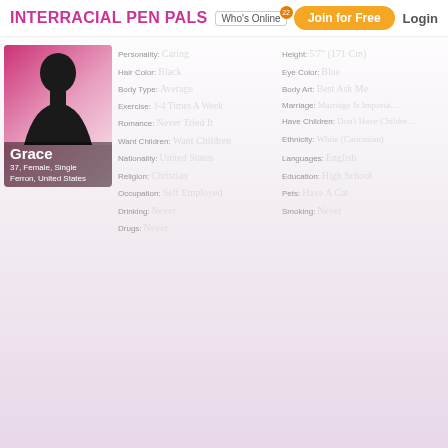INTERRACIAL PEN PALS | Who's Online (22) | Join for Free | Login
[Figure (photo): Profile silhouette of Grace, 37, Female, Single, Ferron, United States on pink/gradient background]
| Attribute | Value | Attribute | Value |
| --- | --- | --- | --- |
| Personality: | Caring | Height: | 5'7" (171 Cm) |
| Hair Color: | Black | Eye Color: | Blue |
| Body Type: | Average | Body Art: | Best Ask Me |
| Exercise: | 3-4 Times A Week | Marriage: | Marriage Is Important |
| Romance: | Never Tried It | Have Children: | Don't Have Children |
| Want Children: | Want Children | Ethnicity: | White (Caucasian) |
| Nationality: | United States | Languages: | English |
| Religion: | Christian | Education: | High School |
| Occupation: | Self Employed | Pets: | Have A Cat |
| Drinking: | Never | Smoking: | Never |
| Drugs: | Never |  |  |